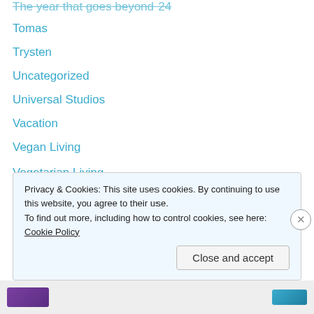The year that goes beyond 24 (partial/clipped)
Tomas
Trysten
Uncategorized
Universal Studios
Vacation
Vegan Living
Vegetarian Living
Weekend Fun
Wellness
Wine to Water
Yoga Love
Privacy & Cookies: This site uses cookies. By continuing to use this website, you agree to their use. To find out more, including how to control cookies, see here: Cookie Policy
Close and accept